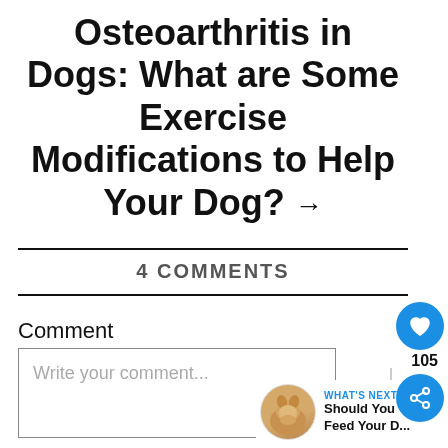Osteoarthritis in Dogs: What are Some Exercise Modifications to Help Your Dog? →
4 COMMENTS
Comment
Write your comment...
105
WHAT'S NEXT → Should You Feed Your D...